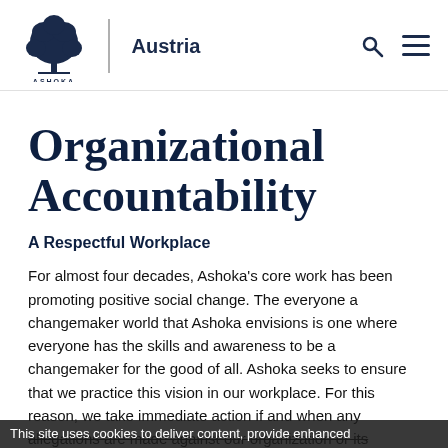Ashoka | Austria
Organizational Accountability
A Respectful Workplace
For almost four decades, Ashoka’s core work has been promoting positive social change. The everyone a changemaker world that Ashoka envisions is one where everyone has the skills and awareness to be a changemaker for the good of all. Ashoka seeks to ensure that we practice this vision in our workplace. For this reason, we take immediate action if and when any allegations are made against our organization or its employees.
This site uses cookies to deliver content, provide enhanced